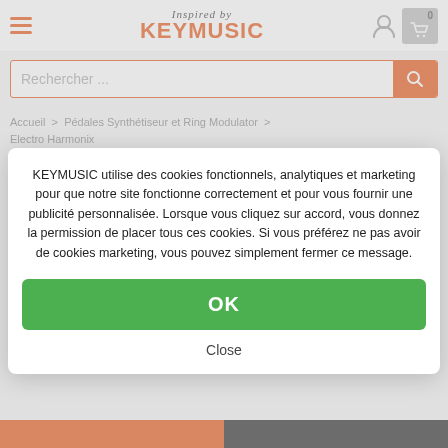Inspired by KEYMUSIC
Rechercher ...
Accueil > Pédales Synthétiseur et Ring Modulator > Electro Harmonix
Electro Harmonix MOD 11 Modulator
KEYMUSIC utilise des cookies fonctionnels, analytiques et marketing pour que notre site fonctionne correctement et pour vous fournir une publicité personnalisée. Lorsque vous cliquez sur accord, vous donnez la permission de placer tous ces cookies. Si vous préférez ne pas avoir de cookies marketing, vous pouvez simplement fermer ce message.
OK
Close